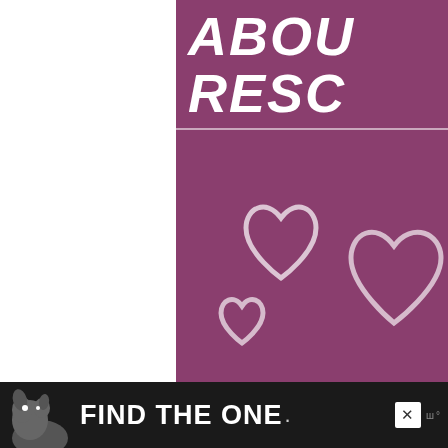[Figure (illustration): Purple banner ad partially visible in top-right corner with bold italic white text 'RESC' and white heart outlines on purple background]
28 comments:
financecupcake October 28, 2010 a
Hey! I'm so glad you left a comment. healthy, and your blogs seems like
[Figure (illustration): Bottom advertisement bar: dark background with dog image, 'FIND THE ONE.' text in white, close button, and website logo]
[Figure (illustration): Green circular heart/like button overlay showing number 56, and share button below it]